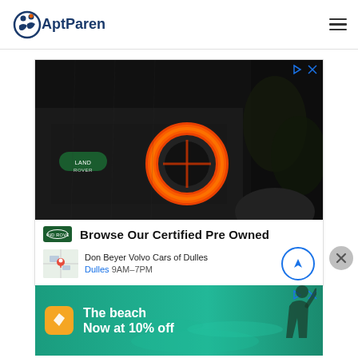AptParenting
[Figure (screenshot): Land Rover advertisement showing rear taillight of a dark Land Rover vehicle with glowing orange circular light. Below the image: Browse Our Certified Pre Owned. Don Beyer Volvo Cars of Dulles. Dulles 9AM-7PM.]
[Figure (screenshot): Travel advertisement with beach theme. Text: The beach Now at 10% off. Yellow icon with airplane on left. Person silhouette on right.]